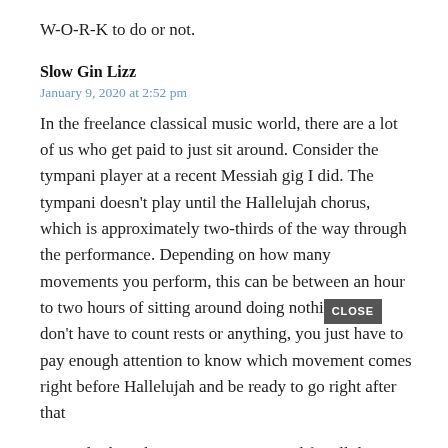W-O-R-K to do or not.
Slow Gin Lizz
January 9, 2020 at 2:52 pm
In the freelance classical music world, there are a lot of us who get paid to just sit around. Consider the tympani player at a recent Messiah gig I did. The tympani doesn't play until the Hallelujah chorus, which is approximately two-thirds of the way through the performance. Depending on how many movements you perform, this can be between an hour to two hours of sitting around doing nothing. You don't have to count rests or anything, you just have to pay enough attention to know which movement comes right before Hallelujah and be ready to go right after that
Not only does the tympanist sit around for all that time beforehand, but at the dress rehearsal for this recent